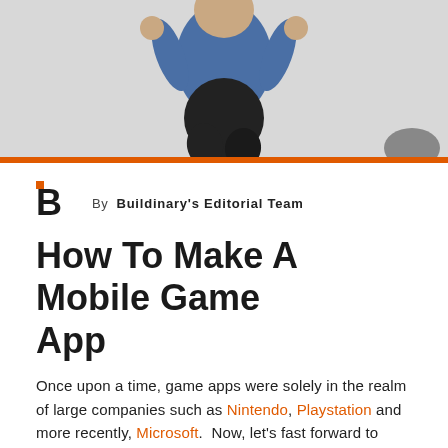[Figure (photo): Photo of a person in a blue tank top jumping or posing, with a grey/white background. Orange horizontal bar at the bottom of the image.]
By Buildinary's Editorial Team
How To Make A Mobile Game App
Once upon a time, game apps were solely in the realm of large companies such as Nintendo, Playstation and more recently, Microsoft.  Now, let’s fast forward to today. Games are no longer solely played on dedicated hardware. People play games on their computers, directly on their TV’s, their smartphones. But…an idea is not enough this article, you will learn all of the steps needed…